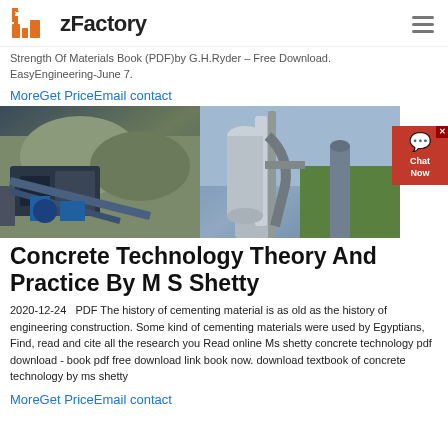zFactory
Strength Of Materials Book (PDF)by G.H.Ryder – Free Download. EasyEngineering-June 7.
MoreGet PriceEmail contact
[Figure (photo): Two industrial/construction machines: a rock crushing/mining machine on the left and an industrial silo or cement plant on the right]
Concrete Technology Theory And Practice By M S Shetty
2020-12-24   PDF The history of cementing material is as old as the history of engineering construction. Some kind of cementing materials were used by Egyptians, Find, read and cite all the research you Read online Ms shetty concrete technology pdf download - book pdf free download link book now. download textbook of concrete technology by ms shetty
MoreGet PriceEmail contact